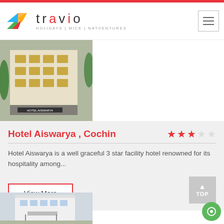[Figure (logo): Travio logo with colorful bird and text 'travio - HOLIDAYS | MICE | NATVENTURES']
[Figure (photo): Hotel Aiswarya building exterior photo showing multi-story hotel facade]
Hotel Aiswarya , Cochin
Hotel Aiswarya is a well graceful 3 star facility hotel renowned for its hospitality among...
[Figure (photo): Second hotel building exterior photo, white modern building]
[Figure (other): Green chat bubble button at bottom right]